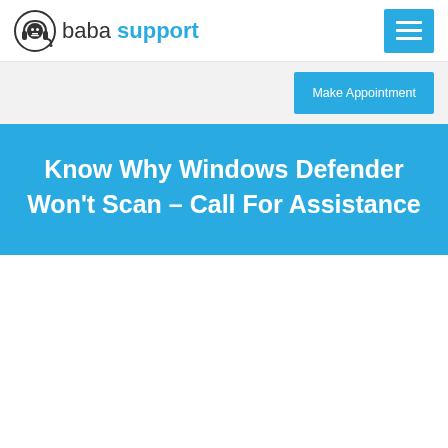baba support
Make Appointment
Know Why Windows Defender Won't Scan – Call For Assistance